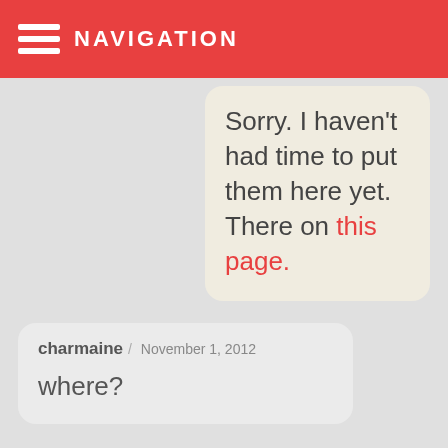NAVIGATION
Sorry. I haven't had time to put them here yet. There on this page.
charmaine / November 1, 2012

where?
Mr. Morton / December 2, 2012